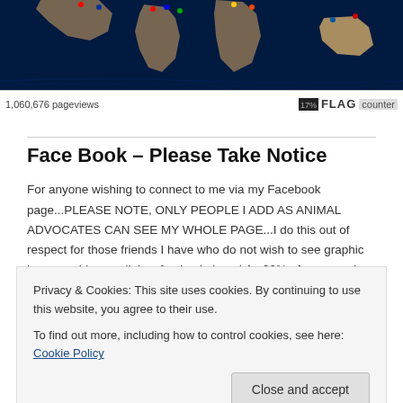[Figure (screenshot): Flag counter world map showing flags with 1,060,676 pageviews watermark]
Face Book – Please Take Notice
For anyone wishing to connect to me via my Facebook page...PLEASE NOTE, ONLY PEOPLE I ADD AS ANIMAL ADVOCATES CAN SEE MY WHOLE PAGE...I do this out of respect for those friends I have who do not wish to see graphic images, videos or links of animal abuse! As 99% of my page is animal related; anyone not in the above group of friends; will only see a limited amount of posts!! DUE TO ANIMAL HATERS...I
Privacy & Cookies: This site uses cookies. By continuing to use this website, you agree to their use.
To find out more, including how to control cookies, see here: Cookie Policy
amount of friends I have, its the quality of those friends that count